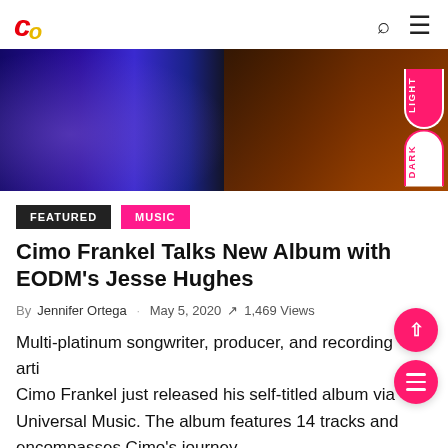Co logo, search and menu icons
[Figure (photo): Banner photo of musicians on stage, blue and orange lighting, guitar visible on right side]
FEATURED   MUSIC
Cimo Frankel Talks New Album with EODM's Jesse Hughes
By Jennifer Ortega · May 5, 2020 ↗ 1,469 Views
Multi-platinum songwriter, producer, and recording artist Cimo Frankel just released his self-titled album via Universal Music. The album features 14 tracks and encompasses Cimo's journey